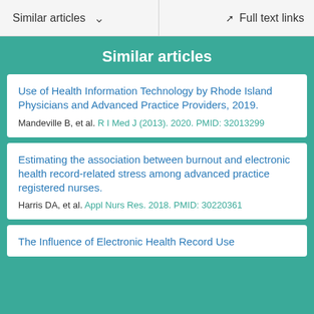Similar articles   Full text links
Similar articles
Use of Health Information Technology by Rhode Island Physicians and Advanced Practice Providers, 2019.
Mandeville B, et al. R I Med J (2013). 2020. PMID: 32013299
Estimating the association between burnout and electronic health record-related stress among advanced practice registered nurses.
Harris DA, et al. Appl Nurs Res. 2018. PMID: 30220361
The Influence of Electronic Health Record Use